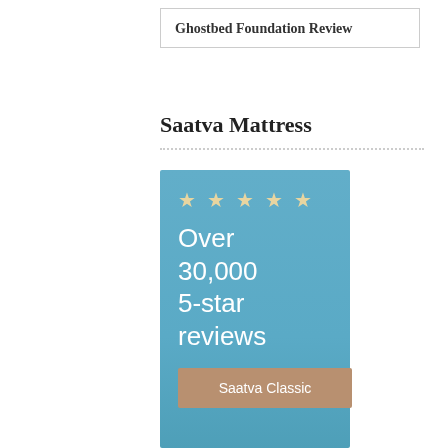Ghostbed Foundation Review
Saatva Mattress
[Figure (infographic): Blue banner image with 5 gold stars, text 'Over 30,000 5-star reviews', and a tan button labeled 'Saatva Classic']